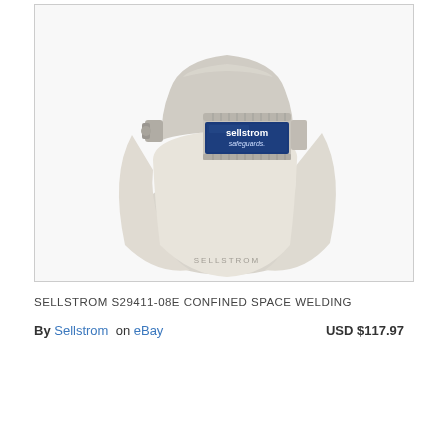[Figure (photo): A Sellstrom S29411-08E confined space welding helmet/hood in light gray/white color. The helmet has a front-mounted auto-darkening welding lens with the Sellstrom Safeguards logo visible in blue on the lens. The helmet includes a full fabric hood draping down. The word SELLSTROM is printed at the bottom of the hood. The product sits on a white background inside a thin gray border.]
SELLSTROM S29411-08E CONFINED SPACE WELDING
By Sellstrom on eBay  USD $117.97